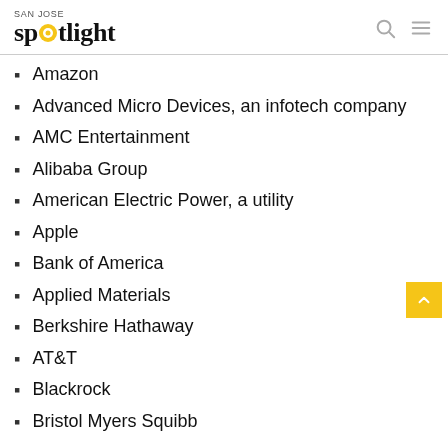SAN JOSE spotlight
Amazon
Advanced Micro Devices, an infotech company
AMC Entertainment
Alibaba Group
American Electric Power, a utility
Apple
Bank of America
Applied Materials
Berkshire Hathaway
AT&T
Blackrock
Bristol Myers Squibb